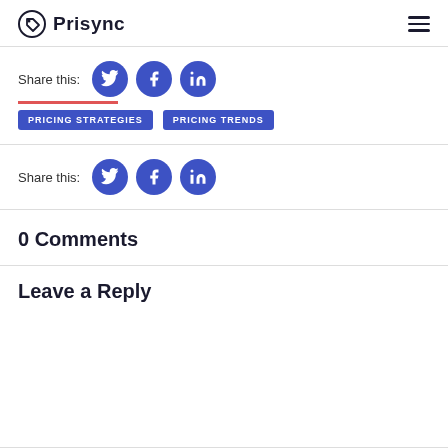Prisync
Share this:
[Figure (infographic): Social share buttons: Twitter, Facebook, LinkedIn (blue circles)]
PRICING STRATEGIES   PRICING TRENDS
Share this:
[Figure (infographic): Social share buttons: Twitter, Facebook, LinkedIn (blue circles)]
0 Comments
Leave a Reply